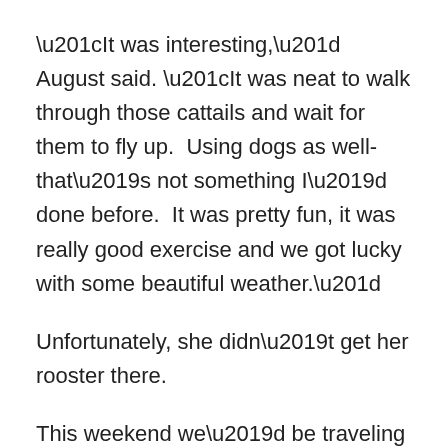“It was interesting,” August said. “It was neat to walk through those cattails and wait for them to fly up.  Using dogs as well-that’s not something I’d done before.  It was pretty fun, it was really good exercise and we got lucky with some beautiful weather.”
Unfortunately, she didn’t get her rooster there.
This weekend we’d be traveling to Hitchcock, South Dakota for a pheasant hunt/fundraiser for “Keeping Kids In outDoor Sports” (KKIDS).
“Our mission statement is to educate and enhance